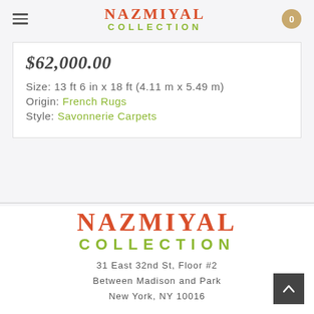Nazmiyal Collection — navigation header with cart (0)
$62,000.00
Size: 13 ft 6 in x 18 ft (4.11 m x 5.49 m)
Origin: French Rugs
Style: Savonnerie Carpets
Nazmiyal Collection
31 East 32nd St, Floor #2
Between Madison and Park
New York, NY 10016